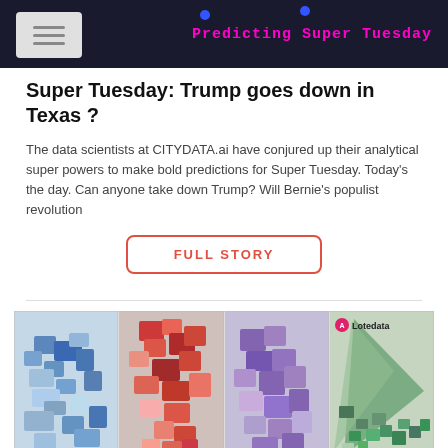Predicting Super Tuesday
Super Tuesday: Trump goes down in Texas ?
The data scientists at CITYDATA.ai have conjured up their analytical super powers to make bold predictions for Super Tuesday. Today's the day. Can anyone take down Trump? Will Bernie's populist revolution
FULL STORY
[Figure (map): Four side-by-side choropleth maps showing geographic data related to Super Tuesday voting predictions, displayed in blue, red, purple, and green color schemes. A Lotedata watermark appears in the top right of the panel.]